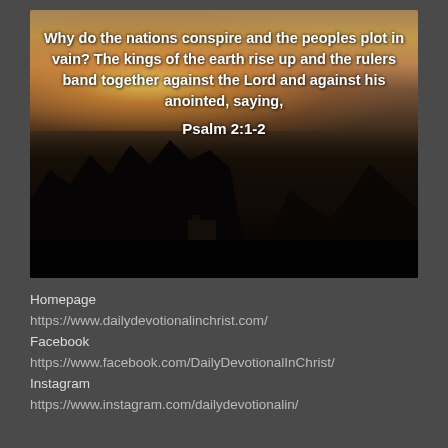[Figure (photo): Sunset landscape photo showing silhouettes of trees and mountains against a warm golden sky, with text overlaid]
Why do the nations conspire and the peoples plot in vain? The kings of the earth rise up and the rulers band together against the Lord and against his anointed, saying, Psalm 2:1-2
Homepage
https://www.dailydevotionalinchrist.com/
Facebook
https://www.facebook.com/DailyDevotionalInChrist/
Instagram
https://www.instagram.com/dailydevotionalin/